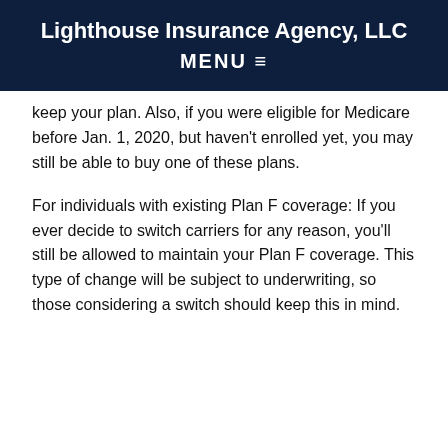Lighthouse Insurance Agency, LLC
MENU ☰
keep your plan. Also, if you were eligible for Medicare before Jan. 1, 2020, but haven't enrolled yet, you may still be able to buy one of these plans.
For individuals with existing Plan F coverage: If you ever decide to switch carriers for any reason, you'll still be allowed to maintain your Plan F coverage. This type of change will be subject to underwriting, so those considering a switch should keep this in mind.